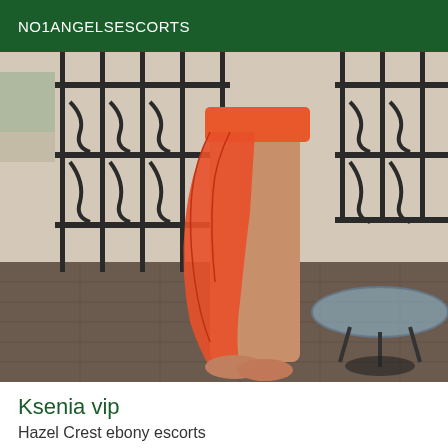NO1ANGELSESCORTS
[Figure (photo): A person standing on a balcony wearing an orange swimsuit and a flowing orange/red wrap skirt, with wrought iron railing and a round glass-top bistro table visible in the background, floor tiles below.]
Ksenia vip
Hazel Crest ebony escorts